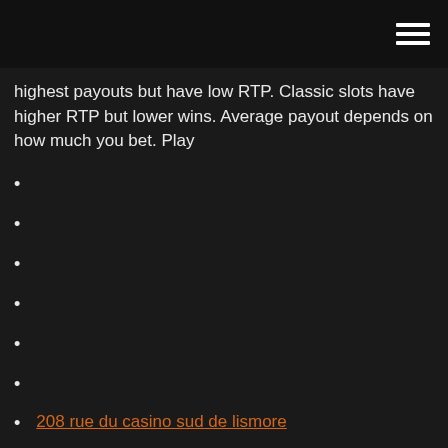highest payouts but have low RTP. Classic slots have higher RTP but lower wins. Average payout depends on how much you bet. Play
208 rue du casino sud de lismore
Construire votre propre table de poker
23 casino parade point cook
Ddr3 ram dans le slot ddr2
Bonus de roulette en ligne senza deposito